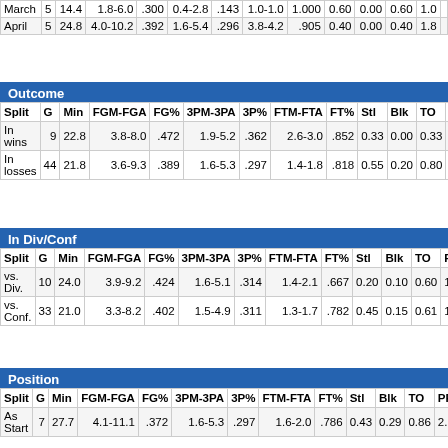| Split | G | Min | FGM-FGA | FG% | 3PM-3PA | 3P% | FTM-FTA | FT% | Stl | Blk | TO | PF | OR | DR |
| --- | --- | --- | --- | --- | --- | --- | --- | --- | --- | --- | --- | --- | --- | --- |
| March | 5 | 14.4 | 1.8-6.0 | .300 | 0.4-2.8 | .143 | 1.0-1.0 | 1.000 | 0.60 | 0.00 | 0.60 | 1.0 |  |
| April | 5 | 24.8 | 4.0-10.2 | .392 | 1.6-5.4 | .296 | 3.8-4.2 | .905 | 0.40 | 0.00 | 0.40 | 1.8 |  |
Outcome
| Split | G | Min | FGM-FGA | FG% | 3PM-3PA | 3P% | FTM-FTA | FT% | Stl | Blk | TO | PF | OR | DR |
| --- | --- | --- | --- | --- | --- | --- | --- | --- | --- | --- | --- | --- | --- | --- |
| In wins | 9 | 22.8 | 3.8-8.0 | .472 | 1.9-5.2 | .362 | 2.6-3.0 | .852 | 0.33 | 0.00 | 0.33 | 2.2 | 0.6 | 1. |
| In losses | 44 | 21.8 | 3.6-9.3 | .389 | 1.6-5.3 | .297 | 1.4-1.8 | .818 | 0.55 | 0.20 | 0.80 | 1.6 | 0.3 | 1. |
In Div/Conf
| Split | G | Min | FGM-FGA | FG% | 3PM-3PA | 3P% | FTM-FTA | FT% | Stl | Blk | TO | PF | OR | DR |
| --- | --- | --- | --- | --- | --- | --- | --- | --- | --- | --- | --- | --- | --- | --- |
| vs. Div. | 10 | 24.0 | 3.9-9.2 | .424 | 1.6-5.1 | .314 | 1.4-2.1 | .667 | 0.20 | 0.10 | 0.60 | 1.9 | 0.2 | 2.1 |
| vs. Conf. | 33 | 21.0 | 3.3-8.2 | .402 | 1.5-4.9 | .311 | 1.3-1.7 | .782 | 0.45 | 0.15 | 0.61 | 1.8 | 0.2 | 1.3 |
Position
| Split | G | Min | FGM-FGA | FG% | 3PM-3PA | 3P% | FTM-FTA | FT% | Stl | Blk | TO | PF | OR | D |
| --- | --- | --- | --- | --- | --- | --- | --- | --- | --- | --- | --- | --- | --- | --- |
| As Start | 7 | 27.7 | 4.1-11.1 | .372 | 1.6-5.3 | .297 | 1.6-2.0 | .786 | 0.43 | 0.29 | 0.86 | 2.6 | 0.4 |  |